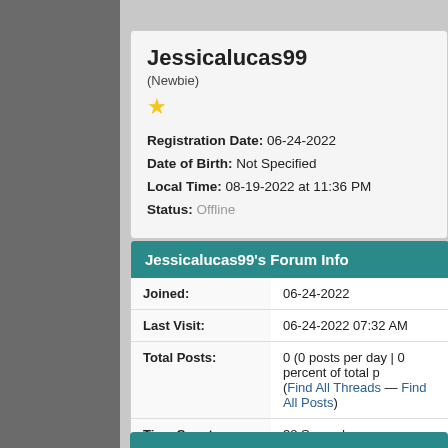Jessicalucas99
(Newbie)
Registration Date: 06-24-2022
Date of Birth: Not Specified
Local Time: 08-19-2022 at 11:36 PM
Status: Offline
Jessicalucas99's Forum Info
|  |  |
| --- | --- |
| Joined: | 06-24-2022 |
| Last Visit: | 06-24-2022 07:32 AM |
| Total Posts: | 0 (0 posts per day | 0 percent of total p
(Find All Threads — Find All Posts) |
| Time Spent Online: | 38 Seconds |
| Members Referred: | 0 |
| Reputation: | 0 [Details] |